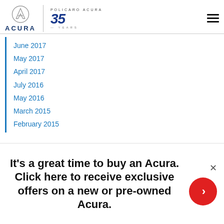[Figure (logo): Acura logo with circle/A symbol and ACURA wordmark, vertical bar separator, Policaro Acura 35 Years logo, and hamburger menu icon]
June 2017
May 2017
April 2017
July 2016
May 2016
March 2015
February 2015
HOURS OF OPERATION
SALES   SERVICE & PARTS
It's a great time to buy an Acura. Click here to receive exclusive offers on a new or pre-owned Acura.